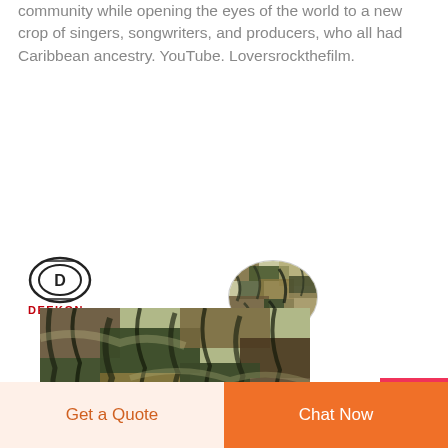community while opening the eyes of the world to a new crop of singers, songwriters, and producers, who all had Caribbean ancestry. YouTube. Loversrockthefilm.
[Figure (photo): Deekon brand logo with oval emblem above; camouflage fabric photo showing tiger stripe pattern in green, brown and black; circular inset swatch of the same fabric]
Get a Quote
Chat Now